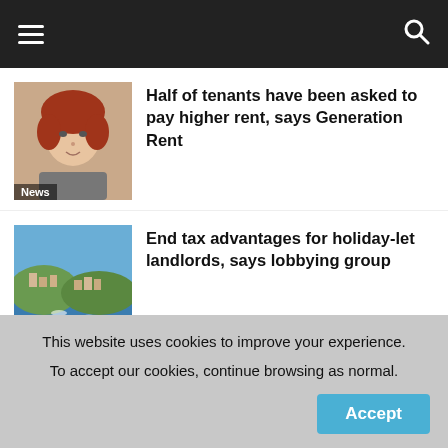Navigation bar with hamburger menu and search icon
[Figure (photo): Woman with red hair, news thumbnail]
Half of tenants have been asked to pay higher rent, says Generation Rent
[Figure (photo): Coastal town with blue water, news thumbnail]
End tax advantages for holiday-let landlords, says lobbying group
[Figure (photo): Person at computer with EPC certificate graphic, news thumbnail]
SHOCK: Just 12% of councils policing EPC certificates for privately rented properties
This website uses cookies to improve your experience. To accept our cookies, continue browsing as normal.